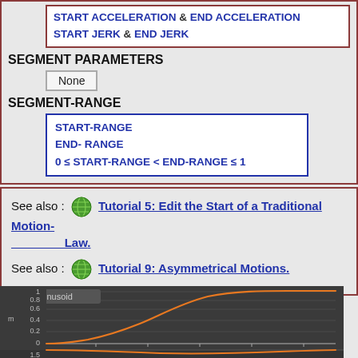START ACCELERATION & END ACCELERATION
START JERK & END JERK
SEGMENT PARAMETERS
None
SEGMENT-RANGE
START-RANGE
END- RANGE
0 ≤ START-RANGE < END-RANGE ≤ 1
See also : Tutorial 5: Edit the Start of a Traditional Motion-Law.
See also : Tutorial 9: Asymmetrical Motions.
[Figure (continuous-plot): Motion-Sinusoid chart showing position curve (orange) rising from 0 to 1 on y-axis (labeled 'm'), with x-axis ticks. Y-axis labels: 0, 0.2, 0.4, 0.6, 0.8, 1. A second partial chart below showing velocity curve (orange) starting around 1.5.]